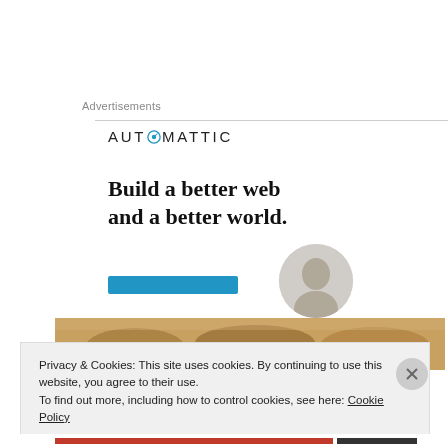Advertisements
[Figure (logo): Automattic logo with compass icon]
Build a better web and a better world.
[Figure (photo): Food photo strip showing baked goods]
Privacy & Cookies: This site uses cookies. By continuing to use this website, you agree to their use.
To find out more, including how to control cookies, see here: Cookie Policy
Close and accept